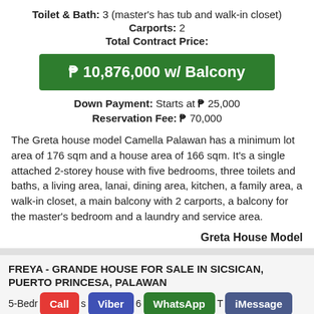Toilet & Bath: 3 (master's has tub and walk-in closet)
Carports: 2
Total Contract Price:
₱ 10,876,000 w/ Balcony
Down Payment: Starts at ₱ 25,000
Reservation Fee: ₱ 70,000
The Greta house model Camella Palawan has a minimum lot area of 176 sqm and a house area of 166 sqm. It's a single attached 2-storey house with five bedrooms, three toilets and baths, a living area, lanai, dining area, kitchen, a family area, a walk-in closet, a main balcony with 2 carports, a balcony for the master's bedroom and a laundry and service area.
Greta House Model
FREYA - GRANDE HOUSE FOR SALE IN SICSICAN, PUERTO PRINCESA, PALAWAN
5-Bedr... s 6 T